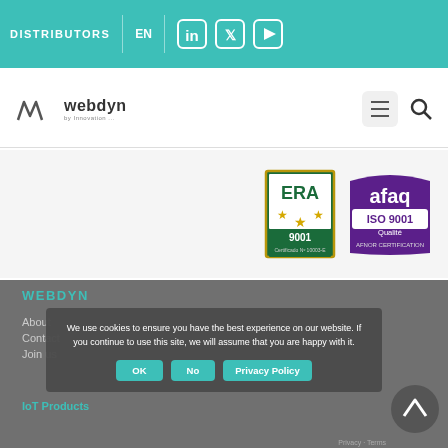DISTRIBUTORS | EN | LinkedIn | Twitter | YouTube
[Figure (logo): Webdyn logo with WM mark and text 'webdyn by Innovation...']
[Figure (logo): ERA ISO 9001 certification badge - green with stars, Certificado No 10003-E]
[Figure (logo): afaq ISO 9001 Qualite AFNOR CERTIFICATION badge - purple]
WEBDYN
About
Contact
Join us
IoT Products
We use cookies to ensure you have the best experience on our website. If you continue to use this site, we will assume that you are happy with it.
OK | No | Privacy Policy